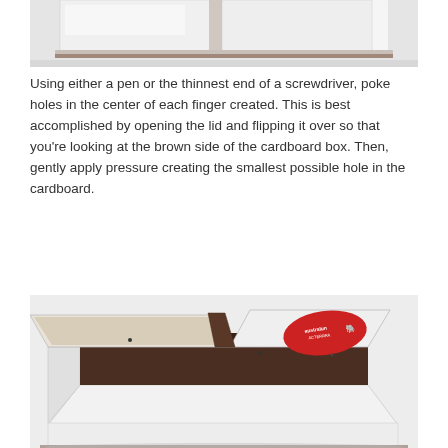[Figure (photo): Top portion of a white cardboard box lid, viewed from above, showing the folded flaps of the box top on a light grey background.]
Using either a pen or the thinnest end of a screwdriver, poke holes in the center of each finger created. This is best accomplished by opening the lid and flipping it over so that you're looking at the brown side of the cardboard box. Then, gently apply pressure creating the smallest possible hole in the cardboard.
[Figure (photo): An open white cardboard box with its lid flipped open, showing the brown interior and the underside of the lid with a red sticker label, with small holes visible in the cardboard flaps. The box is photographed at an angle on a light grey/white background.]